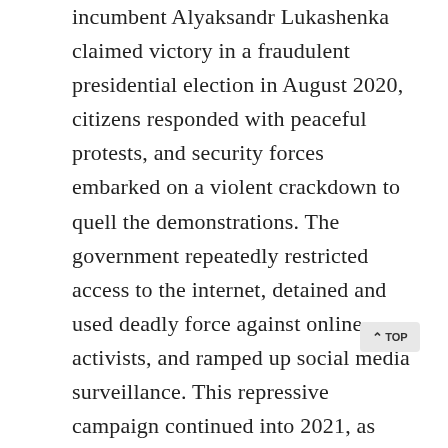incumbent Alyaksandr Lukashenka claimed victory in a fraudulent presidential election in August 2020, citizens responded with peaceful protests, and security forces embarked on a violent crackdown to quell the demonstrations. The government repeatedly restricted access to the internet, detained and used deadly force against online activists, and ramped up social media surveillance. This repressive campaign continued into 2021, as authorities closed the offices and blocked the websites of TUT.by and Nasha Niva, two of the largest independent media outlets in the country. In May 2021, the Lukashenka regime forced a commercial plane to land in Minsk so it could arrest Raman Pratasevich, the former editor in chief of the popular NEXTA channel on the Telegram messaging platform.

Internet freedom in Uganda fell by seven points after